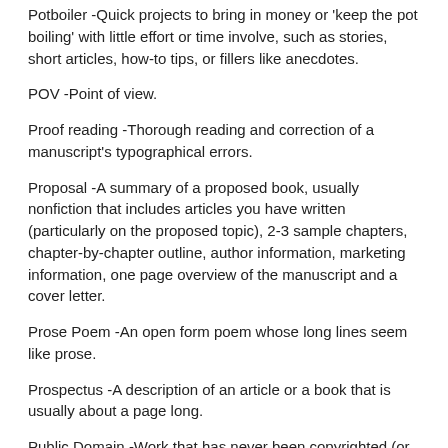Potboiler -Quick projects to bring in money or 'keep the pot boiling' with little effort or time involve, such as stories, short articles, how-to tips, or fillers like anecdotes.
POV -Point of view.
Proof reading -Thorough reading and correction of a manuscript's typographical errors.
Proposal -A summary of a proposed book, usually nonfiction that includes articles you have written (particularly on the proposed topic), 2-3 sample chapters, chapter-by-chapter outline, author information, marketing information, one page overview of the manuscript and a cover letter.
Prose Poem -An open form poem whose long lines seem like prose.
Prospectus -A description of an article or a book that is usually about a page long.
Public Domain -Work that has never been copyrighted (or work that has had its copyright expire).